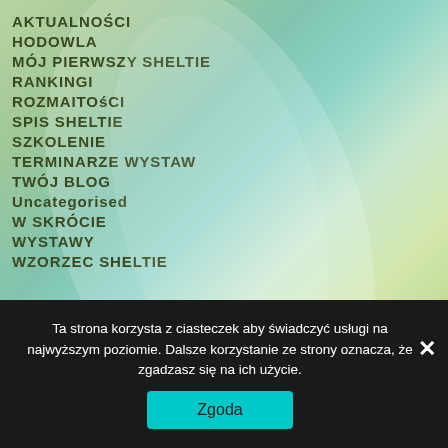AKTUALNOŚCI
HODOWLA
MÓJ PIERWSZY SHELTIE
RANKINGI
ROZMAITOśCI
SPIS SHELTIE
SZKOLENIE
TERMINARZE WYSTAW
TWÓJ BLOG
Uncategorised
W SKRÓCIE
WYSTAWY
WZORZEC SHELTIE
Ta strona korzysta z ciasteczek aby świadczyć usługi na najwyższym poziomie. Dalsze korzystanie ze strony oznacza, że zgadzasz się na ich użycie.
Zgoda